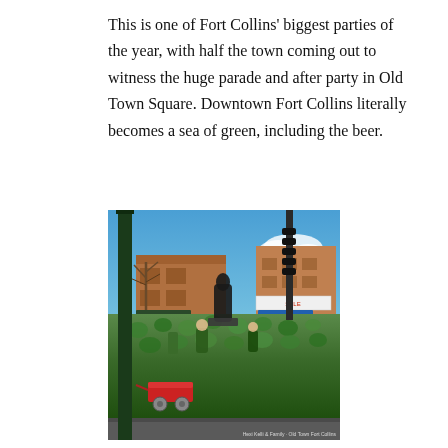This is one of Fort Collins' biggest parties of the year, with half the town coming out to witness the huge parade and after party in Old Town Square. Downtown Fort Collins literally becomes a sea of green, including the beer.
[Figure (photo): Photograph of a St. Patrick's Day parade and street party in Old Town Square, Fort Collins. A large crowd dressed in green fills the street. Brick buildings are visible in the background, a dark street lamp is prominent in the foreground, and a red wagon sits on the street. Clear blue sky overhead.]